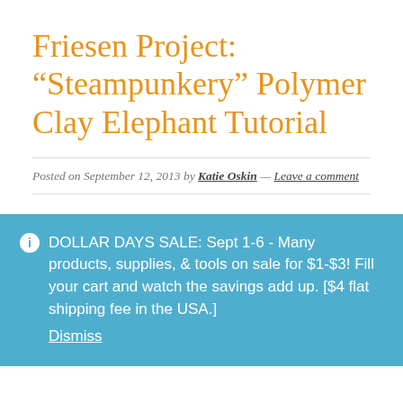Friesen Project: “Steampunkery” Polymer Clay Elephant Tutorial
Posted on September 12, 2013 by Katie Oskin — Leave a comment
DOLLAR DAYS SALE: Sept 1-6 - Many products, supplies, & tools on sale for $1-$3! Fill your cart and watch the savings add up. [$4 flat shipping fee in the USA.] Dismiss